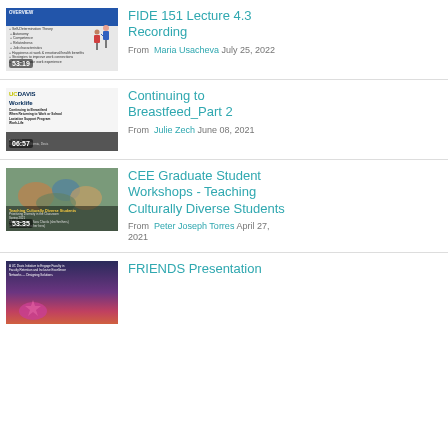[Figure (screenshot): Video thumbnail showing presentation slide with blue header and text about self-determination theory, duration 53:19]
FIDE 151 Lecture 4.3 Recording
From Maria Usacheva July 25, 2022
[Figure (screenshot): UC Davis Worklife video thumbnail about Continuing to Breastfeed When Returning to Work or School Lactation Support Program, duration 06:57]
Continuing to Breastfeed_Part 2
From Julie Zech June 08, 2021
[Figure (screenshot): Photo of students in classroom setting, with text Teaching Culturally Diverse Students, duration 53:35]
CEE Graduate Student Workshops - Teaching Culturally Diverse Students
From Peter Joseph Torres April 27, 2021
[Figure (screenshot): UC Davis FRIENDS initiative thumbnail with starfish and purple/orange gradient background]
FRIENDS Presentation